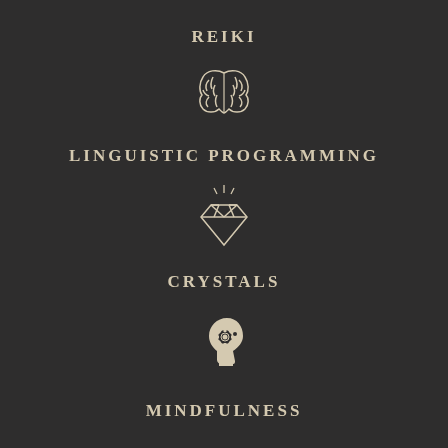REIKI
[Figure (illustration): Brain icon outline]
LINGUISTIC PROGRAMMING
[Figure (illustration): Diamond/crystal gem icon with sparkles]
CRYSTALS
[Figure (illustration): Head silhouette with gear/cog icon inside]
MINDFULNESS